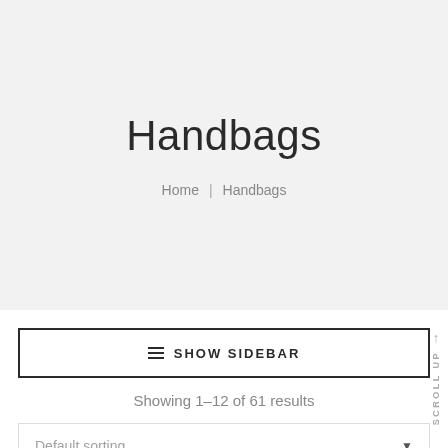Handbags
Home  |  Handbags
≡  SHOW SIDEBAR
SCROLL UP
Showing 1–12 of 61 results
Default sorting